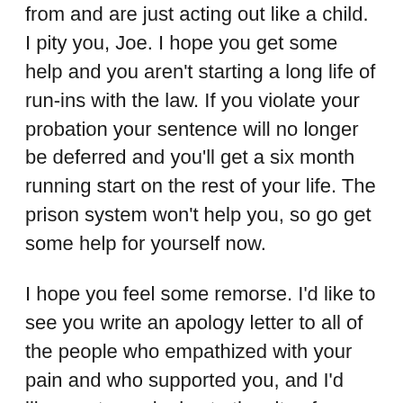from and are just acting out like a child. I pity you, Joe. I hope you get some help and you aren't starting a long life of run-ins with the law. If you violate your probation your sentence will no longer be deferred and you'll get a six month running start on the rest of your life. The prison system won't help you, so go get some help for yourself now.
I hope you feel some remorse. I'd like to see you write an apology letter to all of the people who empathized with your pain and who supported you, and I'd like you to apologize to the city of Missoula. You probably have no idea how long ranging the effects of your actions will be on this community, but news flash: you are not an island.